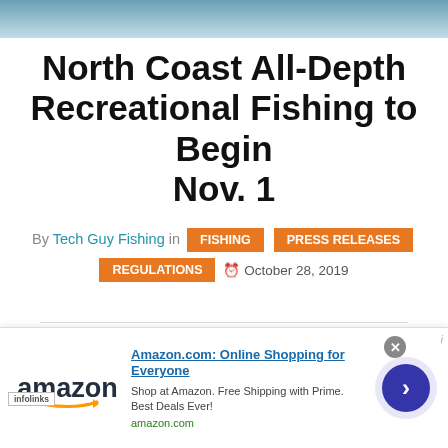[Figure (photo): Partial photo strip at top of page showing water/fishing scene background]
North Coast All-Depth Recreational Fishing to Begin Nov. 1
By Tech Guy Fishing in FISHING  PRESS RELEASES  REGULATIONS  October 28, 2019
[Figure (photo): California Department of Fish and Wildlife logo badge and infolinks ad overlay at bottom, with Amazon advertisement overlay showing: Amazon.com: Online Shopping for Everyone, Shop at Amazon. Free Shipping with Prime. Best Deals Ever!, amazon.com]